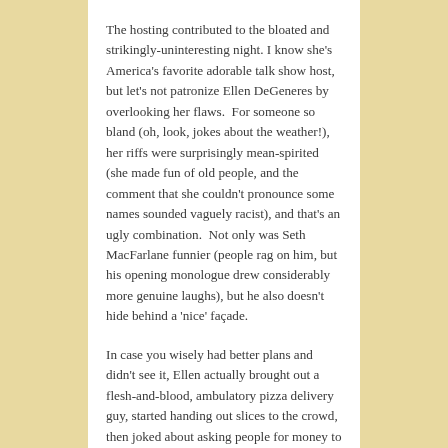The hosting contributed to the bloated and strikingly-uninteresting night. I know she's America's favorite adorable talk show host, but let's not patronize Ellen DeGeneres by overlooking her flaws.  For someone so bland (oh, look, jokes about the weather!), her riffs were surprisingly mean-spirited (she made fun of old people, and the comment that she couldn't pronounce some names sounded vaguely racist), and that's an ugly combination.  Not only was Seth MacFarlane funnier (people rag on him, but his opening monologue drew considerably more genuine laughs), but he also doesn't hide behind a 'nice' façade.
In case you wisely had better plans and didn't see it, Ellen actually brought out a flesh-and-blood, ambulatory pizza delivery guy, started handing out slices to the crowd, then joked about asking people for money to pay him.  This really happened.  Seriously, these shows are written months in advance (presumably), to honor movies